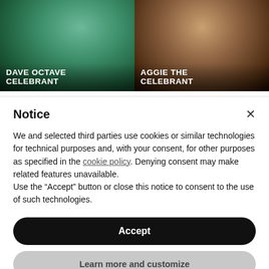[Figure (photo): Two side-by-side photos: left shows Dave Octave Celebrant (man in teal jacket holding a book at an outdoor ceremony with floral arch), right shows Aggie The Celebrant (woman in white holding a book at an indoor ceremony). Each photo has the celebrant's name overlaid at the bottom in white uppercase bold text.]
Notice
We and selected third parties use cookies or similar technologies for technical purposes and, with your consent, for other purposes as specified in the cookie policy. Denying consent may make related features unavailable.
Use the “Accept” button or close this notice to consent to the use of such technologies.
Accept
Learn more and customize